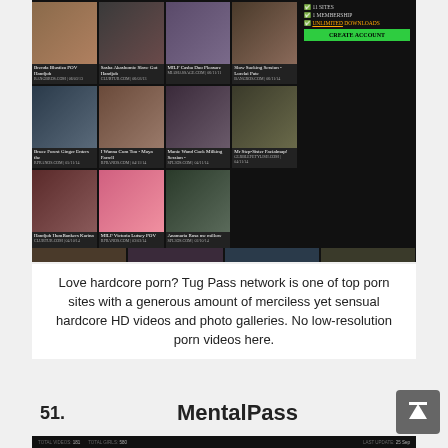[Figure (screenshot): Screenshot of a porn network website (Tug Pass) showing a grid of video thumbnails with titles and site labels, plus a membership sidebar with CREATE ACCOUNT button]
Love hardcore porn? Tug Pass network is one of top porn sites with a generous amount of merciless yet sensual hardcore HD videos and photo galleries. No low-resolution porn videos here.
51. MentalPass
[Figure (screenshot): Bottom portion of MentalPass website screenshot showing total videos: 181, total girls: 580, last update: 25 Sep]